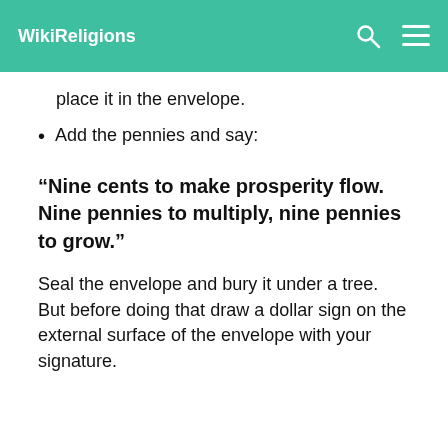WikiReligions
place it in the envelope.
Add the pennies and say:
“Nine cents to make prosperity flow. Nine pennies to multiply, nine pennies to grow.”
Seal the envelope and bury it under a tree. But before doing that draw a dollar sign on the external surface of the envelope with your signature.